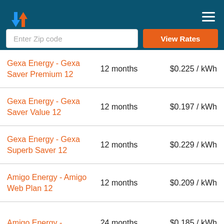Energy comparison website header with logo and navigation
Enter Zip code
View Rates
| Plan Name | Term | Rate |
| --- | --- | --- |
| Gexa Energy - Gexa Saver Premium 12 | 12 months | $0.225 / kWh |
| Gexa Energy - Gexa Saver Value 12 | 12 months | $0.197 / kWh |
| Gexa Energy - Gexa Superb Saver 12 | 12 months | $0.229 / kWh |
| Amigo Energy - Amigo Web Plan 12 | 12 months | $0.209 / kWh |
| Amigo Energy - | 24 months | $0.185 / kWh |